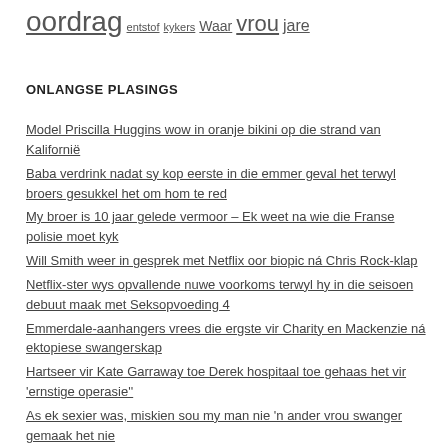oordrag entstof kykers Waar vrou jare
ONLANGSE PLASINGS
Model Priscilla Huggins wow in oranje bikini op die strand van Kalifornië
Baba verdrink nadat sy kop eerste in die emmer geval het terwyl broers gesukkel het om hom te red
My broer is 10 jaar gelede vermoor – Ek weet na wie die Franse polisie moet kyk
Will Smith weer in gesprek met Netflix oor biopic ná Chris Rock-klap
Netflix-ster wys opvallende nuwe voorkoms terwyl hy in die seisoen debuut maak met Seksopvoeding 4
Emmerdale-aanhangers vrees die ergste vir Charity en Mackenzie ná ektopiese swangerskap
Hartseer vir Kate Garraway toe Derek hospitaal toe gehaas het vir 'ernstige operasie''
As ek sexier was, miskien sou my man nie 'n ander vrou swanger gemaak het nie